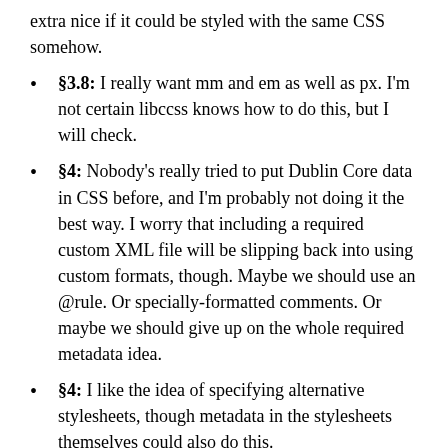extra nice if it could be styled with the same CSS somehow.
§3.8: I really want mm and em as well as px.  I'm not certain libccss knows how to do this, but I will check.
§4: Nobody's really tried to put Dublin Core data in CSS before, and I'm probably not doing it the best way.  I worry that including a required custom XML file will be slipping back into using custom formats, though.  Maybe we should use an @rule.  Or specially-formatted comments.  Or maybe we should give up on the whole required metadata idea.
§4: I like the idea of specifying alternative stylesheets, though metadata in the stylesheets themselves could also do this.
§6.1: yes, we really need a default stylesheet.  I'm not sure what should go into it.  I will think about this and include it in the first libcowbell